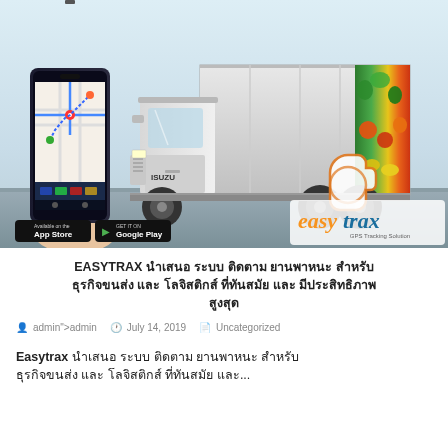[Figure (photo): Promotional image showing a hand holding a smartphone with a GPS tracking app, an Isuzu truck with a produce/vegetable wrap on its cargo box, App Store and Google Play download buttons, and the Easytrax GPS Tracking Solution logo with a hand cursor icon.]
EASYTRAX นำเสนอ ระบบ ติดตาม ยานพาหนะ สำหรับ ธุรกิจขนส่ง และ โลจิสติกส์ ที่ทันสมัย และ มีประสิทธิภาพ สูงสุด
admin">admin  July 14, 2019  Uncategorized
Easytrax นำเสนอ ระบบ ติดตาม ยานพาหนะ สำหรับ ธุรกิจขนส่ง และ โลจิสติกส์ ที่ทันสมัย และ...